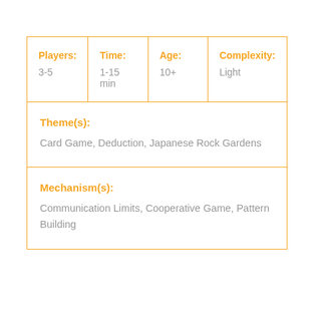| Players: | Time: | Age: | Complexity: |
| --- | --- | --- | --- |
| 3-5 | 1-15 min | 10+ | Light |
Theme(s): Card Game, Deduction, Japanese Rock Gardens
Mechanism(s): Communication Limits, Cooperative Game, Pattern Building